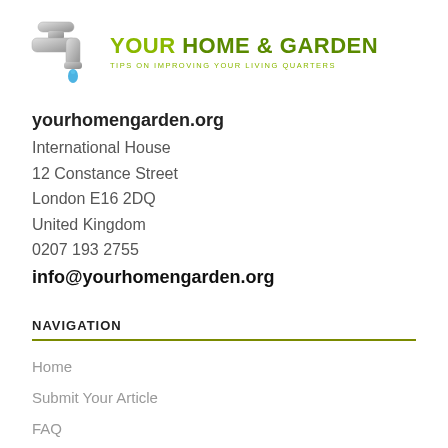[Figure (logo): Your Home & Garden logo with faucet/tap illustration and text 'YOUR HOME & GARDEN - TIPS ON IMPROVING YOUR LIVING QUARTERS']
yourhomengarden.org
International House
12 Constance Street
London E16 2DQ
United Kingdom
0207 193 2755
info@yourhomengarden.org
NAVIGATION
Home
Submit Your Article
FAQ